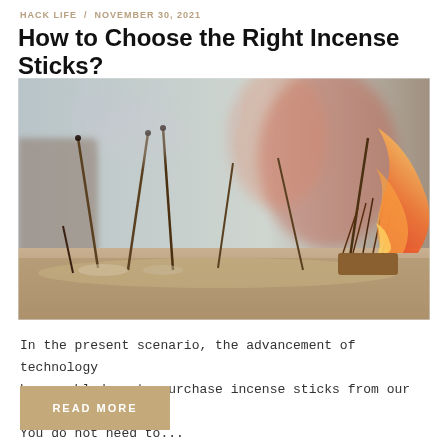HACK LIFE / NOVEMBER 30, 2021
How to Choose the Right Incense Sticks?
[Figure (photo): Photograph of burning incense sticks with smoke rising, set outdoors with fire and blurred background.]
In the present scenario, the advancement of technology has enabled us to purchase incense sticks from our home. You do not need to...
READ MORE